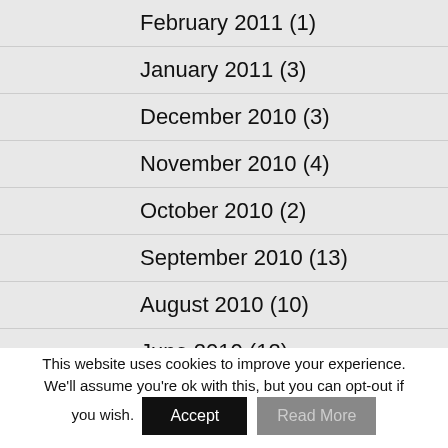February 2011 (1)
January 2011 (3)
December 2010 (3)
November 2010 (4)
October 2010 (2)
September 2010 (13)
August 2010 (10)
June 2010 (12)
May 2010 (2)
This website uses cookies to improve your experience. We'll assume you're ok with this, but you can opt-out if you wish.